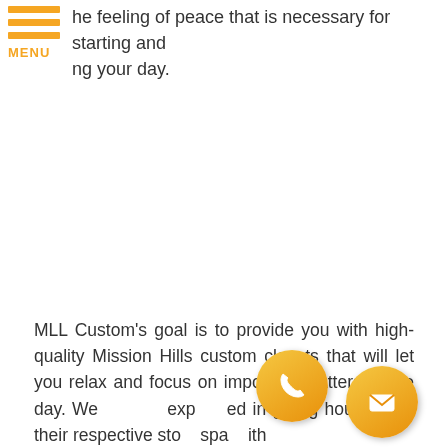[Figure (other): Orange hamburger menu icon with three horizontal bars and MENU label]
he feeling of peace that is necessary for starting and ng your day.
MLL Custom's goal is to provide you with high-quality Mission Hills custom closets that will let you relax and focus on important matters of the day. We experted in giving households their respective stor spac with
[Figure (other): Orange circular phone icon button]
[Figure (other): Orange circular email/envelope icon button]